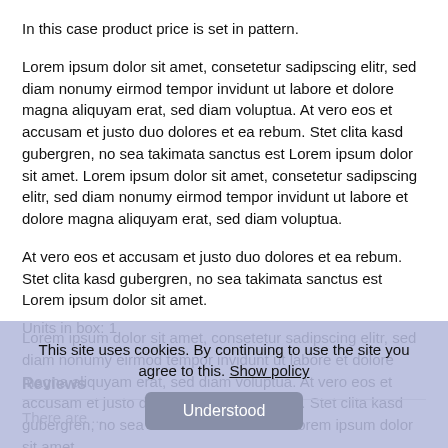In this case product price is set in pattern.
Lorem ipsum dolor sit amet, consetetur sadipscing elitr, sed diam nonumy eirmod tempor invidunt ut labore et dolore magna aliquyam erat, sed diam voluptua. At vero eos et accusam et justo duo dolores et ea rebum. Stet clita kasd gubergren, no sea takimata sanctus est Lorem ipsum dolor sit amet. Lorem ipsum dolor sit amet, consetetur sadipscing elitr, sed diam nonumy eirmod tempor invidunt ut labore et dolore magna aliquyam erat, sed diam voluptua.
At vero eos et accusam et justo duo dolores et ea rebum. Stet clita kasd gubergren, no sea takimata sanctus est Lorem ipsum dolor sit amet.
Lorem ipsum dolor sit amet, consetetur sadipscing elitr, sed diam nonumy eirmod tempor invidunt ut labore et dolore magna aliquyam erat, sed diam voluptua. At vero eos et accusam et justo duo dolores et ea rebum. Stet clita kasd gubergren, no sea takimata sanctus est Lorem ipsum dolor sit amet.
Units in box: 1
Reviews
This site uses cookies. By continuing to use the site you agree to this. Show policy
Understood